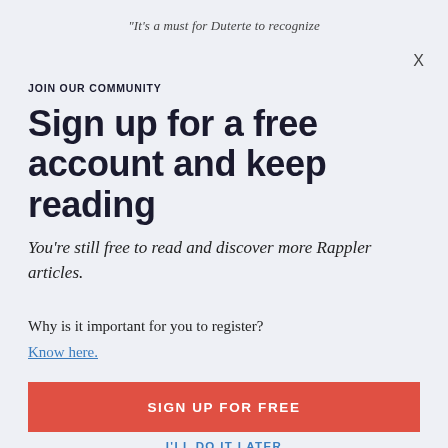“It’s a must for Duterte to recognize
JOIN OUR COMMUNITY
Sign up for a free account and keep reading
You’re still free to read and discover more Rappler articles.
Why is it important for you to register?
Know here.
SIGN UP FOR FREE
I’LL DO IT LATER